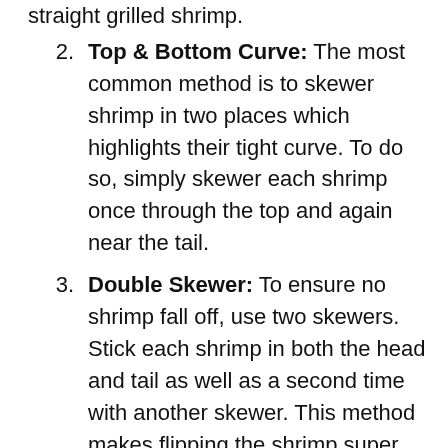2. Top & Bottom Curve: The most common method is to skewer shrimp in two places which highlights their tight curve. To do so, simply skewer each shrimp once through the top and again near the tail.
3. Double Skewer: To ensure no shrimp fall off, use two skewers. Stick each shrimp in both the head and tail as well as a second time with another skewer. This method makes flipping the shrimp super easy!
No matter which way you skewer your shrimp, don’t overcrowd them. Leave a little space between each so that they can grill evenly. Because shrimp grill quicker than vegetables, it’s best to keep shrimp on separate skewers rather than mixing the two in a